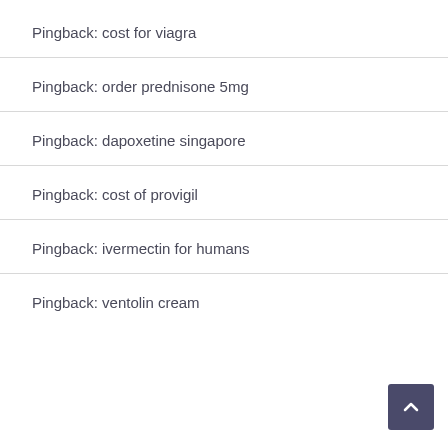Pingback: cost for viagra
Pingback: order prednisone 5mg
Pingback: dapoxetine singapore
Pingback: cost of provigil
Pingback: ivermectin for humans
Pingback: ventolin cream